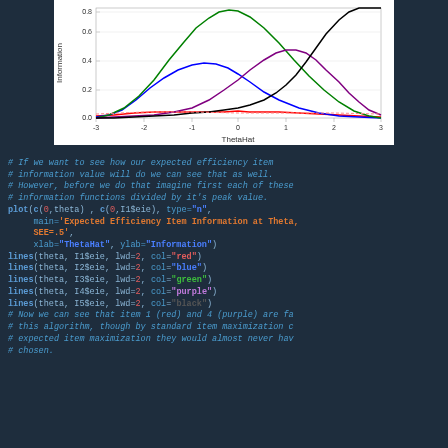[Figure (continuous-plot): Line chart showing Expected Efficiency Item Information at Theta with multiple colored curves (red, blue, green, purple, black) plotted over ThetaHat x-axis ranging from -3 to 3, and Information y-axis from 0.0 to 0.8]
# If we want to see how our expected efficiency item
# information value will do we can see that as well.
# However, before we do that imagine first each of these
# information functions divided by it's peak value.
plot(c(0,theta), c(0,I1$eie), type="n",
     main="Expected Efficiency Item Information at Theta,
     SEE=.5",
     xlab="ThetaHat", ylab="Information")
lines(theta, I1$eie, lwd=2, col="red")
lines(theta, I2$eie, lwd=2, col="blue")
lines(theta, I3$eie, lwd=2, col="green")
lines(theta, I4$eie, lwd=2, col="purple")
lines(theta, I5$eie, lwd=2, col="black")
# Now we can see that item 1 (red) and 4 (purple) are fa
# this algorithm, though by standard item maximization c
# expected item maximization they would almost never hav
# chosen.